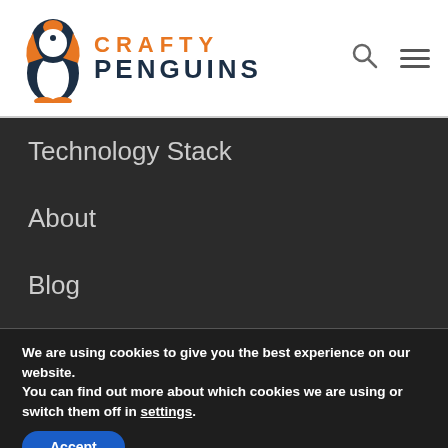[Figure (logo): Crafty Penguins logo with penguin SVG icon and orange/dark blue text]
Technology Stack
About
Blog
Careers
We are using cookies to give you the best experience on our website.
You can find out more about which cookies we are using or switch them off in settings.
Accept